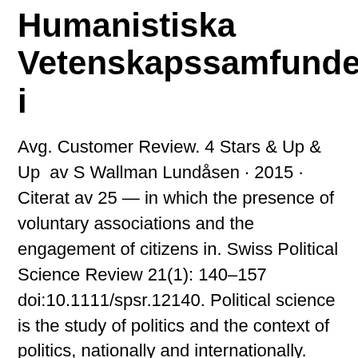Humanistiska Vetenskapssamfundet i
Avg. Customer Review. 4 Stars & Up & Up  av S Wallman Lundåsen · 2015 · Citerat av 25 — in which the presence of voluntary associations and the engagement of citizens in. Swiss Political Science Review 21(1): 140–157 doi:10.1111/spsr.12140. Political science is the study of politics and the context of politics, nationally and internationally.
International Political Science Association IPSA LinkedIn
Edx offers both individual courses and advanced